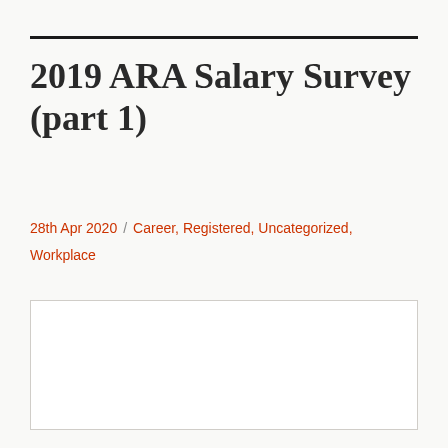2019 ARA Salary Survey (part 1)
28th Apr 2020  /  Career, Registered, Uncategorized, Workplace
[Figure (other): Blank white image placeholder box with light gray border]